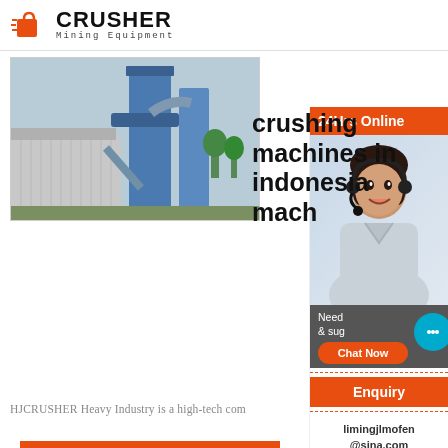[Figure (logo): CRUSHER Mining Equipment logo with red shopping bag icon and bold text]
[Figure (photo): Industrial crushing machine/dust collector with blue silos and pipes]
crushing machines in indonesia mach
HJCRUSHER Heavy Industry is a high-tech com
Read More
[Figure (photo): Customer service agent - woman wearing headset, smiling. 24Hrs Online banner. Chat bubble icon. Need & suggestions text. Chat Now button.]
Enquiry
limingjlmofen@sina.com
< < Previous: Rock Grinding Mill & Production